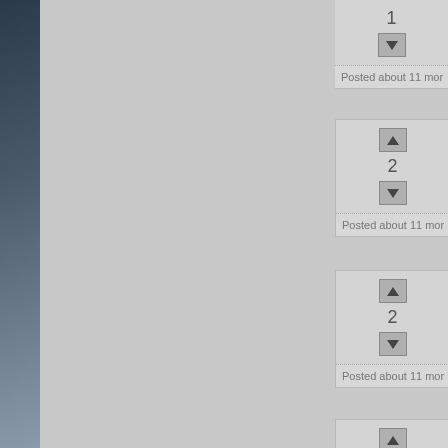[Figure (screenshot): Screenshot of a web interface showing a dark image panel on the left, a gray content area in the center, and a right sidebar with vote cards. Each card shows up/down vote buttons with a vote count (1 or 2) and a 'Posted about 11 mo...' timestamp bar. Three full cards and partial top/bottom cards are visible.]
1
Posted about 11 mor
2
Posted about 11 mor
2
Posted about 11 mor